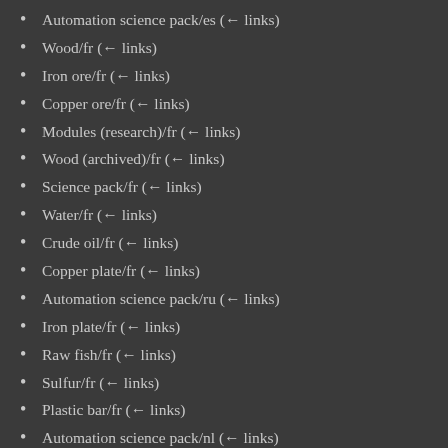Automation science pack/es  (← links)
Wood/fr  (← links)
Iron ore/fr  (← links)
Copper ore/fr  (← links)
Modules (research)/fr  (← links)
Wood (archived)/fr  (← links)
Science pack/fr  (← links)
Water/fr  (← links)
Crude oil/fr  (← links)
Copper plate/fr  (← links)
Automation science pack/ru  (← links)
Iron plate/fr  (← links)
Raw fish/fr  (← links)
Sulfur/fr  (← links)
Plastic bar/fr  (← links)
Automation science pack/nl  (← links)
Automation science pack/uk  (← links)
Iron stick/fr  (← links)
Automation science pack/zh  (← links)
Battery/fr  (← links)
Iron gear wheel/fr  (← links)
Copper cable/fr  (← links)
Electronic circuit/fr  (← links)
Advanced circuit/fr  (← links)
Processing unit/fr  (← links)